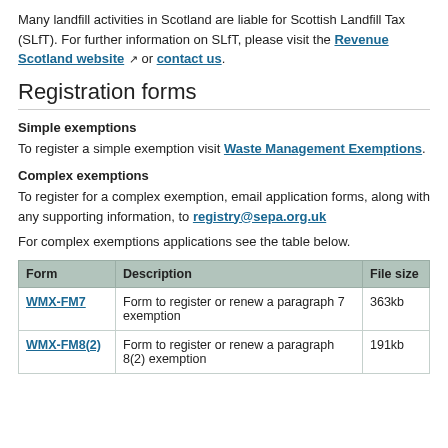Many landfill activities in Scotland are liable for Scottish Landfill Tax (SLfT). For further information on SLfT, please visit the Revenue Scotland website or contact us.
Registration forms
Simple exemptions
To register a simple exemption visit Waste Management Exemptions.
Complex exemptions
To register for a complex exemption, email application forms, along with any supporting information, to registry@sepa.org.uk
For complex exemptions applications see the table below.
| Form | Description | File size |
| --- | --- | --- |
| WMX-FM7 | Form to register or renew a paragraph 7 exemption | 363kb |
| WMX-FM8(2) | Form to register or renew a paragraph 8(2) exemption | 191kb |